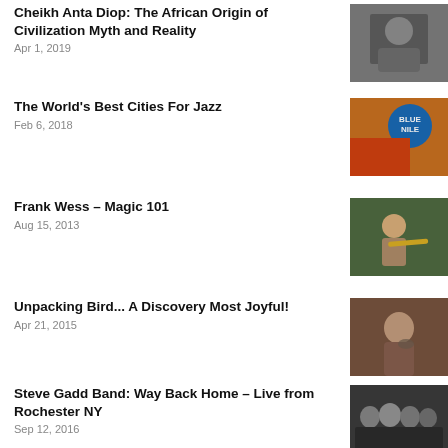Cheikh Anta Diop: The African Origin of Civilization Myth and Reality
Apr 1, 2019
[Figure (photo): Black and white portrait photo of Cheikh Anta Diop]
The World's Best Cities For Jazz
Feb 6, 2018
[Figure (photo): Colorful jazz mural with Blue Nile sign and musician]
Frank Wess – Magic 101
Aug 15, 2013
[Figure (photo): Man playing flute outdoors]
Unpacking Bird... A Discovery Most Joyful!
Apr 21, 2015
[Figure (photo): Sepia-toned photo of musician playing saxophone]
Steve Gadd Band: Way Back Home – Live from Rochester NY
Sep 12, 2016
[Figure (photo): Group photo of Steve Gadd Band members]